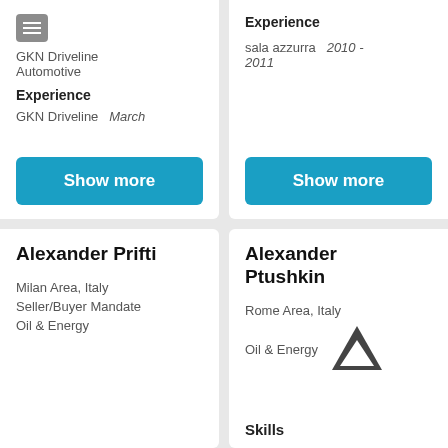GKN Driveline
Automotive
Experience
GKN Driveline   March
Show more
Experience
sala azzurra   2010 - 2011
Show more
Alexander Prifti
Milan Area, Italy
Seller/Buyer Mandate
Oil & Energy
Alexander Ptushkin
Rome Area, Italy
Oil & Energy
Skills